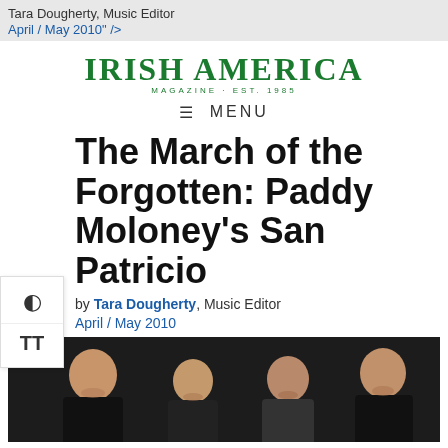Tara Dougherty, Music Editor
April / May 2010" />
[Figure (logo): Irish America Magazine logo, green serif text, EST 1985]
≡ MENU
The March of the Forgotten: Paddy Moloney's San Patricio
Tara Dougherty, Music Editor
April / May 2010
[Figure (photo): Group photo of four men in dark clothing against a black background]